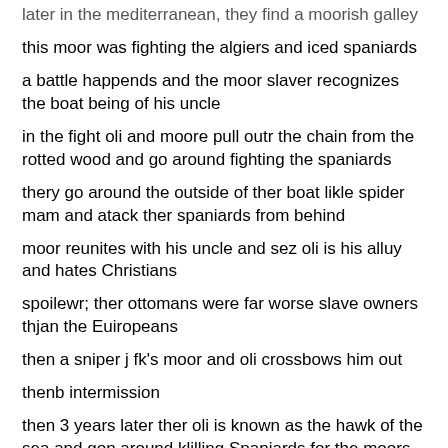later in the mediterranean, they find a moorish galley
this moor was fighting the algiers and iced spaniards
a battle happends and the moor slaver recognizes the boat being of his uncle
in the fight oli and moore pull outr the chain from the rotted wood and go around fighting the spaniards
thery go around the outside of ther boat likle spider mam and atack ther spaniards from behind
moor reunites with his uncle and sez oli is his alluy and hates Christians
spoilewr; ther ottomans were far worse slave owners thjan the Euiropeans
then a sniper j fk's moor and oli crossbows him out
thenb intermission
then 3 years later ther oli is known as the hawk of the sea and gon around klilling Spaniards for the moors